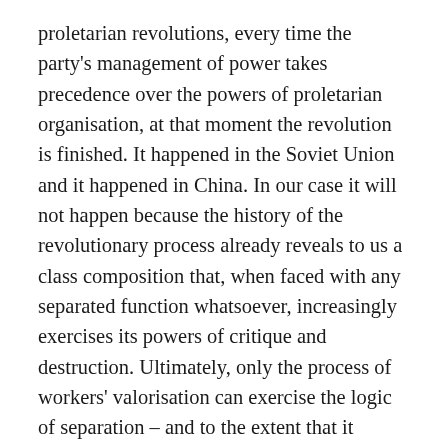proletarian revolutions, every time the party's management of power takes precedence over the powers of proletarian organisation, at that moment the revolution is finished. It happened in the Soviet Union and it happened in China. In our case it will not happen because the history of the revolutionary process already reveals to us a class composition that, when faced with any separated function whatsoever, increasingly exercises its powers of critique and destruction. Ultimately, only the process of workers' valorisation can exercise the logic of separation – and to the extent that it exercises that logic, it becomes the exclusive source of proletarian power.
From this point of view we can – and must – begin our discussion of the constitution of the communist dictatorship. It is time that we stopped laying out